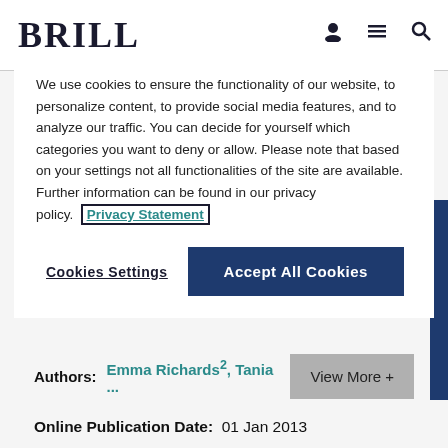BRILL
We use cookies to ensure the functionality of our website, to personalize content, to provide social media features, and to analyze our traffic. You can decide for yourself which categories you want to deny or allow. Please note that based on your settings not all functionalities of the site are available. Further information can be found in our privacy policy. Privacy Statement
Cookies Settings    Accept All Cookies
Authors: Emma Richards², Tania ...    View More +
Online Publication Date:  01 Jan 2013
Download Citation
Get Permissions